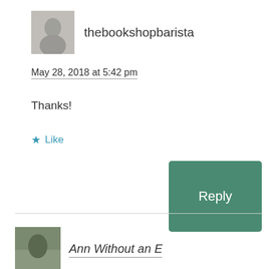thebookshopbarista
May 28, 2018 at 5:42 pm
Thanks!
★ Like
Reply
Ann Without an E